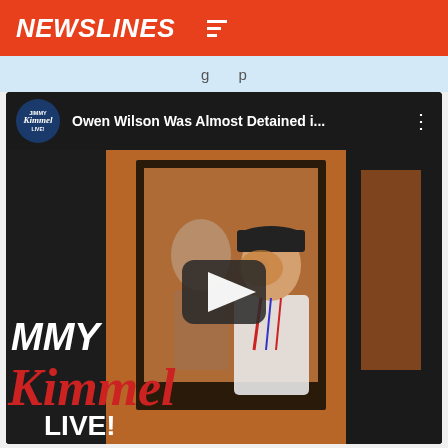NEWSLINES
g p
[Figure (screenshot): YouTube-style video thumbnail showing Owen Wilson Was Almost Detained i... on Jimmy Kimmel Live channel. The thumbnail shows Owen Wilson wearing a black cap and white shirt, smiling, standing next to a child whose face is blurred. The Jimmy Kimmel Live logo is visible in the lower left. A play button icon is centered on the video.]